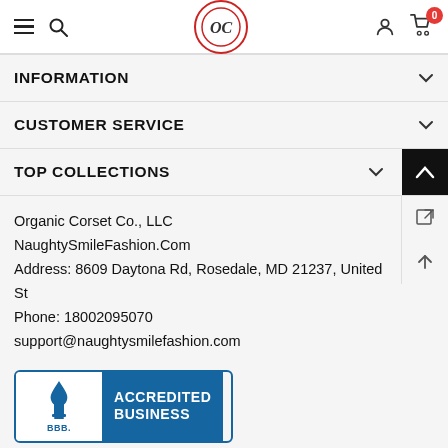Navigation header with hamburger menu, search icon, logo, user icon, cart (0)
INFORMATION
CUSTOMER SERVICE
TOP COLLECTIONS
Organic Corset Co., LLC
NaughtySmileFashion.Com
Address: 8609 Daytona Rd, Rosedale, MD 21237, United States
Phone: 18002095070
support@naughtysmilefashion.com
[Figure (logo): BBB Accredited Business badge with torch logo on left and blue panel reading ACCREDITED BUSINESS on right]